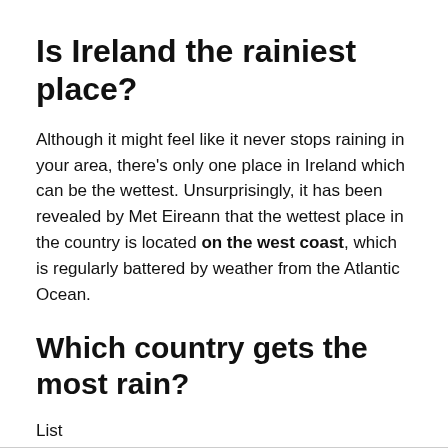Is Ireland the rainiest place?
Although it might feel like it never stops raining in your area, there’s only one place in Ireland which can be the wettest. Unsurprisingly, it has been revealed by Met Eireann that the wettest place in the country is located on the west coast, which is regularly battered by weather from the Atlantic Ocean.
Which country gets the most rain?
List